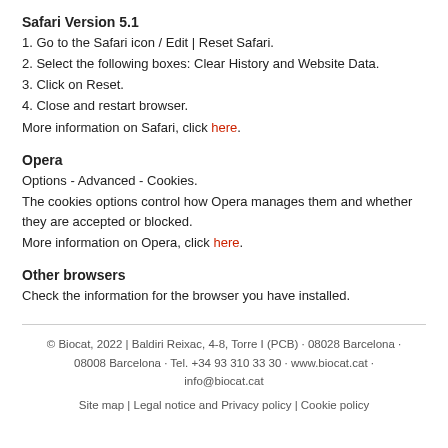Safari Version 5.1
1. Go to the Safari icon / Edit | Reset Safari.
2. Select the following boxes: Clear History and Website Data.
3. Click on Reset.
4. Close and restart browser.
More information on Safari, click here.
Opera
Options - Advanced - Cookies.
The cookies options control how Opera manages them and whether they are accepted or blocked.
More information on Opera, click here.
Other browsers
Check the information for the browser you have installed.
© Biocat, 2022 | Baldiri Reixac, 4-8, Torre I (PCB) · 08028 Barcelona · 08008 Barcelona · Tel. +34 93 310 33 30 · www.biocat.cat · info@biocat.cat
Site map | Legal notice and Privacy policy | Cookie policy